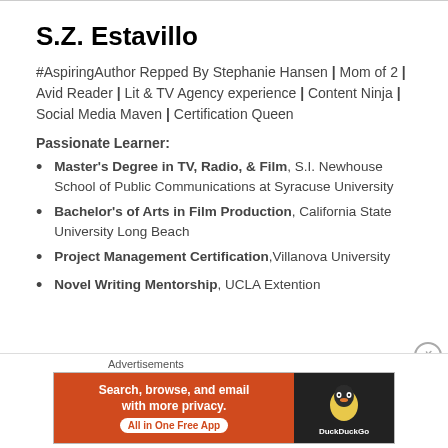S.Z. Estavillo
#AspiringAuthor Repped By Stephanie Hansen | Mom of 2 | Avid Reader | Lit & TV Agency experience | Content Ninja | Social Media Maven | Certification Queen
Passionate Learner:
Master's Degree in TV, Radio, & Film, S.I. Newhouse School of Public Communications at Syracuse University
Bachelor's of Arts in Film Production, California State University Long Beach
Project Management Certification, Villanova University
Novel Writing Mentorship, UCLA Extention
Advertisements
[Figure (infographic): DuckDuckGo advertisement banner: orange left panel with text 'Search, browse, and email with more privacy. All in One Free App' and dark right panel with DuckDuckGo logo]